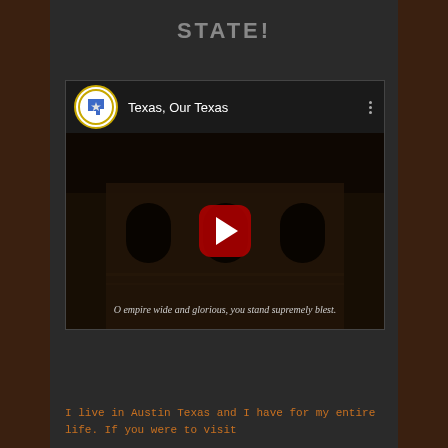STATE!
[Figure (screenshot): YouTube video embed showing 'Texas, Our Texas' with a thumbnail of a historic building (the Alamo) in sepia tones, a red play button in the center, and the lyric caption 'O empire wide and glorious, you stand supremely blest.' displayed at the bottom of the video.]
I live in Austin Texas and I have for my entire life. If you were to visit